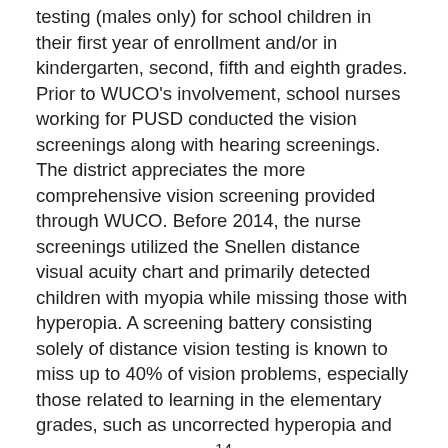testing (males only) for school children in their first year of enrollment and/or in kindergarten, second, fifth and eighth grades. Prior to WUCO's involvement, school nurses working for PUSD conducted the vision screenings along with hearing screenings. The district appreciates the more comprehensive vision screening provided through WUCO. Before 2014, the nurse screenings utilized the Snellen distance visual acuity chart and primarily detected children with myopia while missing those with hyperopia. A screening battery consisting solely of distance vision testing is known to miss up to 40% of vision problems, especially those related to learning in the elementary grades, such as uncorrected hyperopia and binocular dysfunction.14 A recent report by Kulp et al. demonstrated that even a moderate amount of uncorrected hyperopia in young children results in poor performance on tests of early literacy.15
Even with the state-mandated addition of near vision testing to the screening battery, vision problems may still go undetected. Recent research has also demonstrated that early detection of reduced near point of convergence in school-age children helps them to avoid some reading problems.16 In July 2016, the American Academy of Optometry published a Policy Statement on Childhood Vision Screening, which reads "in order to facilitate early detection